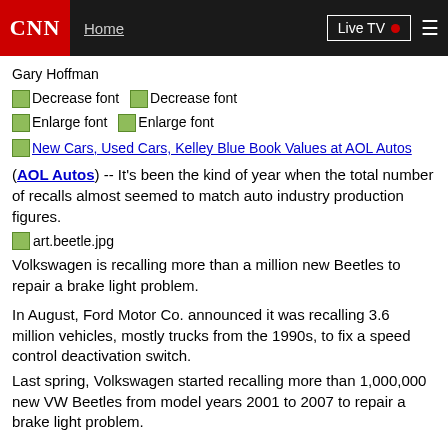CNN | Home | Live TV
Gary Hoffman
Decrease font  Decrease font
Enlarge font  Enlarge font
New Cars, Used Cars, Kelley Blue Book Values at AOL Autos
(AOL Autos) -- It's been the kind of year when the total number of recalls almost seemed to match auto industry production figures.
[Figure (photo): art.beetle.jpg image placeholder]
Volkswagen is recalling more than a million new Beetles to repair a brake light problem.
In August, Ford Motor Co. announced it was recalling 3.6 million vehicles, mostly trucks from the 1990s, to fix a speed control deactivation switch.
Last spring, Volkswagen started recalling more than 1,000,000 new VW Beetles from model years 2001 to 2007 to repair a brake light problem.